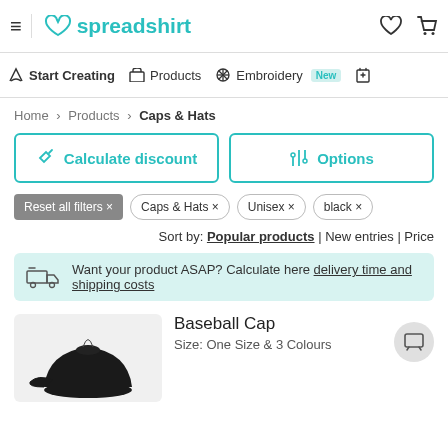spreadshirt
Start Creating | Products | Embroidery New
Home > Products > Caps & Hats
Calculate discount | Options
Reset all filters × | Caps & Hats × | Unisex × | black ×
Sort by: Popular products | New entries | Price
Want your product ASAP? Calculate here delivery time and shipping costs
Baseball Cap
Size: One Size & 3 Colours